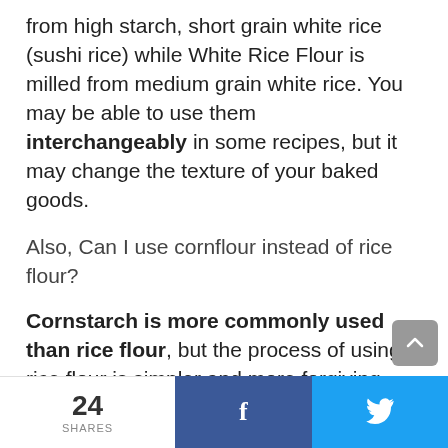from high starch, short grain white rice (sushi rice) while White Rice Flour is milled from medium grain white rice. You may be able to use them interchangeably in some recipes, but it may change the texture of your baked goods.
Also, Can I use cornflour instead of rice flour?
Cornstarch is more commonly used than rice flour, but the process of using rice flour is simpler and more forgiving. Although there are notable differences in technique and behavior between cornstarch and rice flour, you really can substitute one for the other in almost any recipe.
24 SHARES  f  (twitter bird)